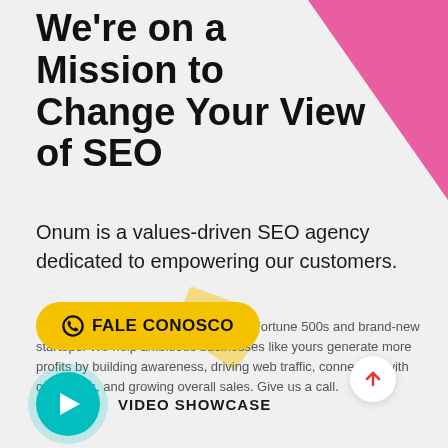We're on a Mission to Change Your View of SEO
Onum is a values-driven SEO agency dedicated to empowering our customers.
Over the years, we have worked with Fortune 500s and brand-new startups. We help ambitious businesses like yours generate more profits by building awareness, driving web traffic, connecting with customers, and growing overall sales. Give us a call.
[Figure (illustration): Yellow button with WhatsApp icon labeled FALE CONOSCO]
[Figure (illustration): Teal play button circle with VIDEO SHOWCASE text label beside it]
[Figure (illustration): White circle button with red upward arrow for scroll-to-top]